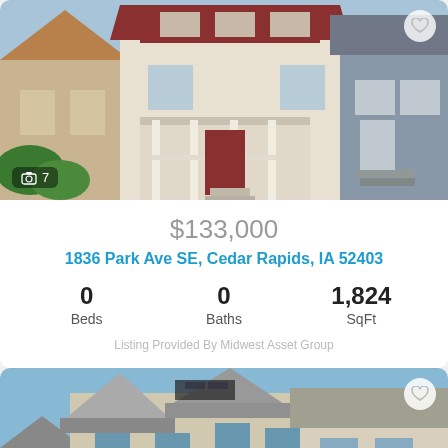[Figure (photo): Exterior photo of a two-story white house with dark red trim and covered front porch, neighbors visible on both sides]
$133,000
1836 Park Ave SE, Cedar Rapids, IA 52403
0 Beds   0 Baths   1,824 SqFt
Listing Provided By Midwest Asset Group
[Figure (photo): Exterior photo of a large two-story beige/tan house with steep gabled roof and neighboring houses visible]